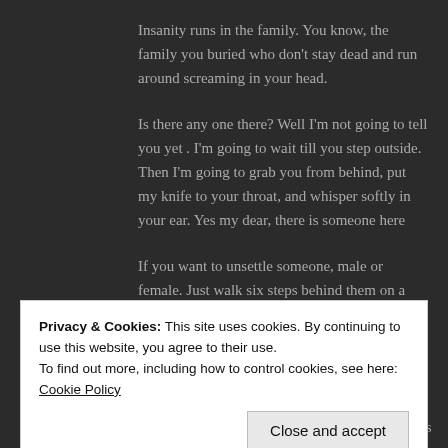Insanity runs in the family. You know, the family you buried who don't stay dead and run around screaming in your head.
Is there any one there? Well I'm not going to tell you yet . I'm going to wait till you step outside. Then I'm going to grab you from behind, put my knife to your throat, and whisper softly in your ear. Yes my dear, there is someone here
If you want to unsettle someone, male or female. Just walk six steps behind them on a dark night. Then stand outside on the pavement and stare back as they look through their curtains to make sure your not there.
Privacy & Cookies: This site uses cookies. By continuing to use this website, you agree to their use.
To find out more, including how to control cookies, see here: Cookie Policy
you have to be cruel to be kind? I do cruel things